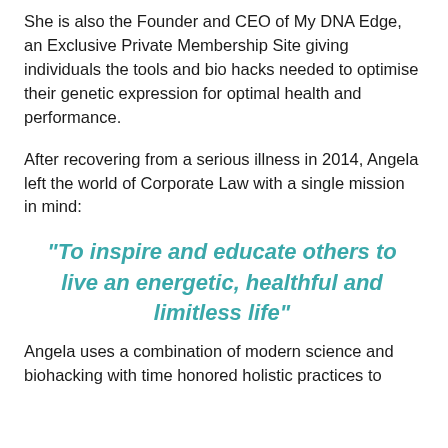She is also the Founder and CEO of My DNA Edge, an Exclusive Private Membership Site giving individuals the tools and bio hacks needed to optimise their genetic expression for optimal health and performance.
After recovering from a serious illness in 2014, Angela left the world of Corporate Law with a single mission in mind:
“To inspire and educate others to live an energetic, healthful and limitless life”
Angela uses a combination of modern science and biohacking with time honored holistic practices to